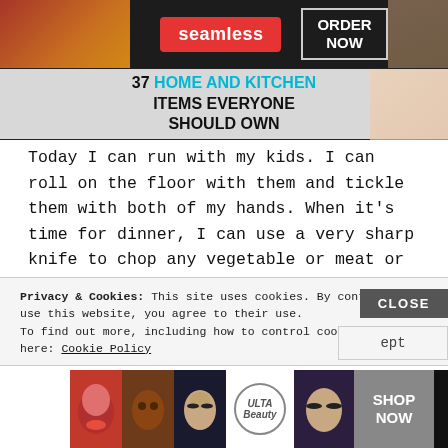[Figure (screenshot): Advertisement banner: Seamless food delivery 'ORDER NOW' banner with pizza imagery on dark background]
[Figure (screenshot): BuzzFeed-style article header: '37 HOME AND KITCHEN ITEMS EVERYONE SHOULD OWN' in bold black text with teal/cyan colored 'HOME AND KITCHEN', overlaid on light background with product imagery]
Today I can run with my kids. I can roll on the floor with them and tickle them with both of my hands. When it's time for dinner, I can use a very sharp knife to chop any vegetable or meat or fruit. Should I need to help my church set up chairs, I can grasp the chair with both arms and hands lift
Privacy & Cookies: This site uses cookies. By continuing to use this website, you agree to their use.
To find out more, including how to control cookies, see here: Cookie Policy
[Figure (screenshot): ULTA Beauty advertisement with makeup faces and 'SHOP NOW' button, and a CLOSE button overlay, plus an 'ept' accept button]